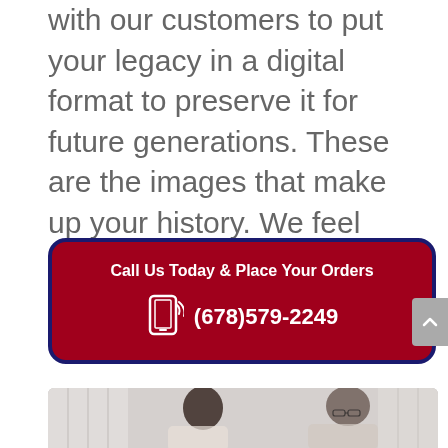with our customers to put your legacy in a digital format to preserve it for future generations. These are the images that make up your history. We feel strongly that this is something worth protecting.
[Figure (infographic): Red call-to-action box with dark navy border, reading 'Call Us Today & Place Your Orders' with a phone icon and phone number (678)579-2249]
[Figure (photo): Partial photo showing two people, a younger woman and an older man with glasses, in a light interior setting]